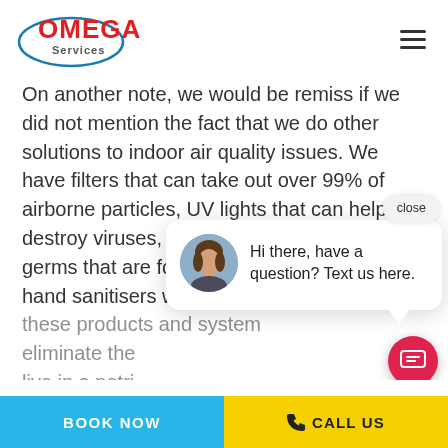Omega Services
On another note, we would be remiss if we did not mention the fact that we do other solutions to indoor air quality issues. We have filters that can take out over 99% of airborne particles, UV lights that can help destroy viruses, air sterilisers to eradicate germs that are found in homes, similar to hand sanitisers we are now using daily. Can these products and systems eliminate the... live in a petri... and go a long... be clear, we have offered and sold these products for over a decade. We have a limited inventory tha...
[Figure (other): Chat popup widget with avatar of a woman and text: 'Hi there, have a question? Text us here.' with a close button above and a red chat button below.]